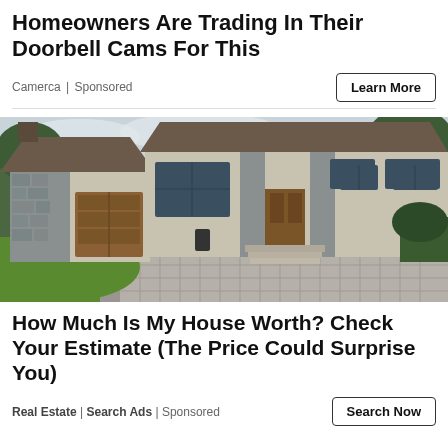Homeowners Are Trading In Their Doorbell Cams For This
Camerca | Sponsored
[Figure (photo): Exterior photo of a large modern luxury home with stone facade, brown garage door, large windows, and paved circular driveway with green lawn]
How Much Is My House Worth? Check Your Estimate (The Price Could Surprise You)
Real Estate | Search Ads | Sponsored